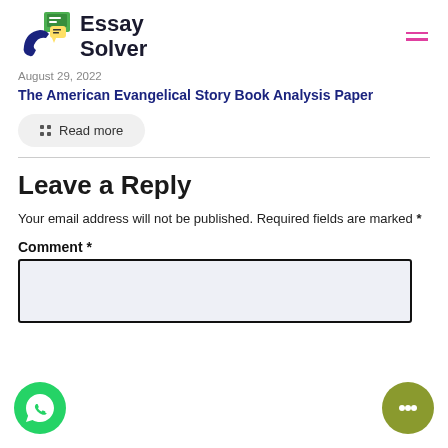Essay Solver
August 29, 2022
The American Evangelical Story Book Analysis Paper
Read more
Leave a Reply
Your email address will not be published. Required fields are marked *
Comment *